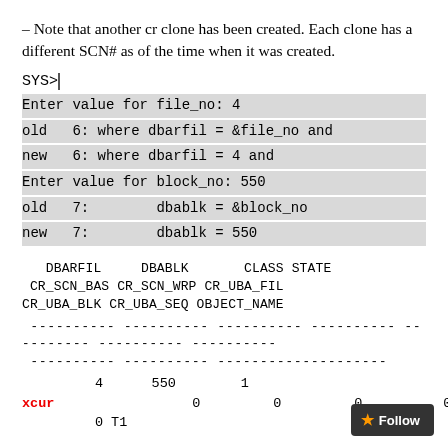– Note that another cr clone has been created. Each clone has a different SCN# as of the time when it was created.
SYS>/
Enter value for file_no: 4
old   6: where dbarfil = &file_no and
new   6: where dbarfil = 4 and
Enter value for block_no: 550
old   7:        dbablk = &block_no
new   7:        dbablk = 550
DBARFIL    DBABLK       CLASS STATE
CR_SCN_BAS CR_SCN_WRP CR_UBA_FIL
CR_UBA_BLK CR_UBA_SEQ OBJECT_NAME
4   550   1 xcur   0   0   0  0
0 T1